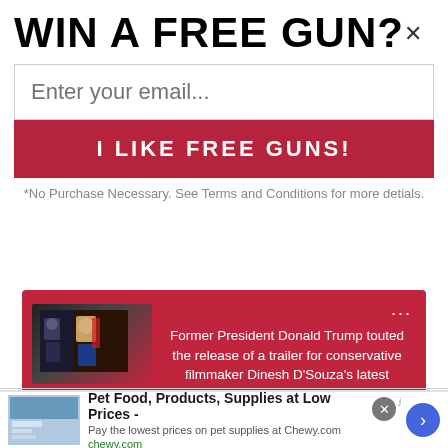WIN A FREE GUN?×
Enter your email...
I LIKE FREE GUNS!
*No Purchase Necessary. See Terms and Conditions for more detials.
[Figure (screenshot): Social media share card with red background showing thumbnail of two figures (likely politicians) with text: Former President Donald Trump touted the release of a trailer for conservative filmmaker Dinesh D'Souza's latest project, '2,000 Mules.' with link to www.westernjournal.com]
Ringo
Pet Food, Products, Supplies at Low Prices -
Pay the lowest prices on pet supplies at Chewy.com
chewy.com